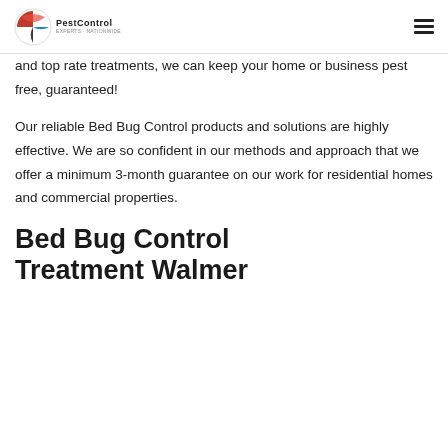PestControl
and top rate treatments, we can keep your home or business pest free, guaranteed!
Our reliable Bed Bug Control products and solutions are highly effective. We are so confident in our methods and approach that we offer a minimum 3-month guarantee on our work for residential homes and commercial properties.
Bed Bug Control Treatment Walmer